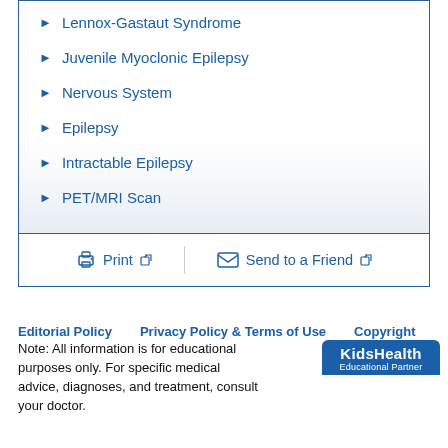Lennox-Gastaut Syndrome
Juvenile Myoclonic Epilepsy
Nervous System
Epilepsy
Intractable Epilepsy
PET/MRI Scan
Print   Send to a Friend
Editorial Policy   Privacy Policy & Terms of Use   Copyright
Note: All information is for educational purposes only. For specific medical advice, diagnoses, and treatment, consult your doctor.
[Figure (logo): KidsHealth Educational Partner logo]